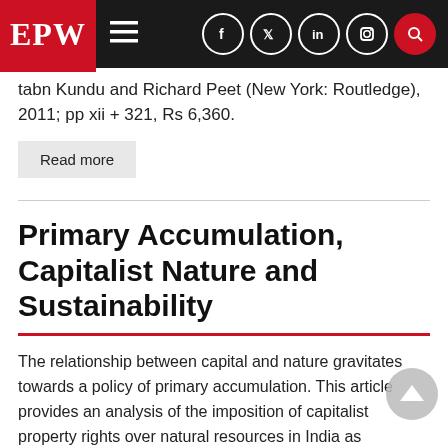EPW [navigation bar with hamburger menu and social icons: Facebook, Twitter, LinkedIn, Instagram, Search]
tabn Kundu and Richard Peet (New York: Routledge), 2011; pp xii + 321, Rs 6,360.
Read more
Primary Accumulation, Capitalist Nature and Sustainability
The relationship between capital and nature gravitates towards a policy of primary accumulation. This article provides an analysis of the imposition of capitalist property rights over natural resources in India as processes of primary